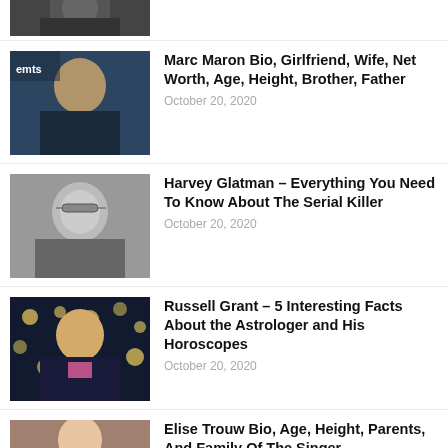[Figure (photo): Partial photo of a man in a dark suit, cropped at top]
[Figure (photo): Marc Maron at Emmy awards in dark suit and tie]
Marc Maron Bio, Girlfriend, Wife, Net Worth, Age, Height, Brother, Father
October 20, 2020
[Figure (photo): Black and white photo of Harvey Glatman with glasses]
Harvey Glatman – Everything You Need To Know About The Serial Killer
October 20, 2020
[Figure (photo): Russell Grant in decorated jacket with bokeh lights background]
Russell Grant – 5 Interesting Facts About the Astrologer and His Horoscopes
October 20, 2020
[Figure (photo): Young woman, Elise Trouw, at an event]
Elise Trouw Bio, Age, Height, Parents, And Family Of The Singer